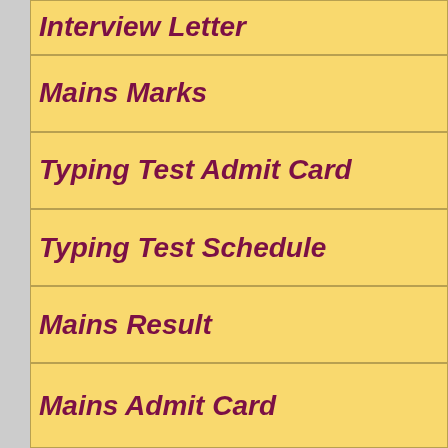Interview Letter
Mains Marks
Typing Test Admit Card
Typing Test Schedule
Mains Result
Mains Admit Card